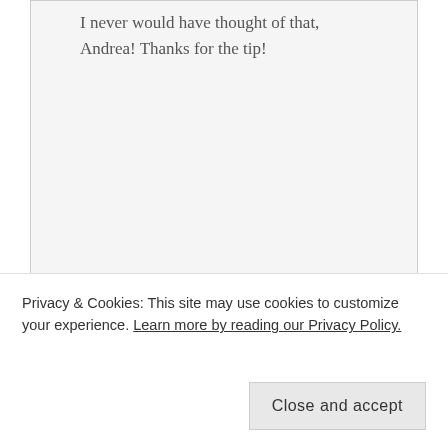I never would have thought of that, Andrea! Thanks for the tip!
Reply
SARAH says
March 27, 2014 at 2:40 pm
14
as a 2 year old, a 3 year old and a 4 year
Privacy & Cookies: This site may use cookies to customize your experience. Learn more by reading our Privacy Policy.
Close and accept